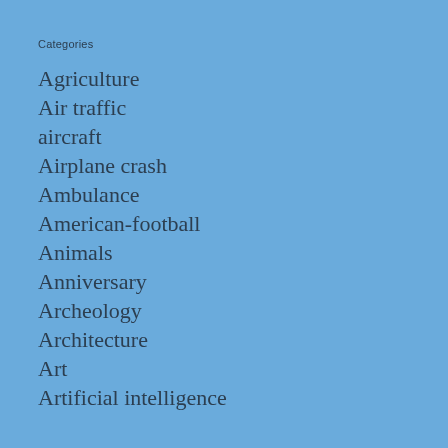Categories
Agriculture
Air traffic
aircraft
Airplane crash
Ambulance
American-football
Animals
Anniversary
Archeology
Architecture
Art
Artificial intelligence